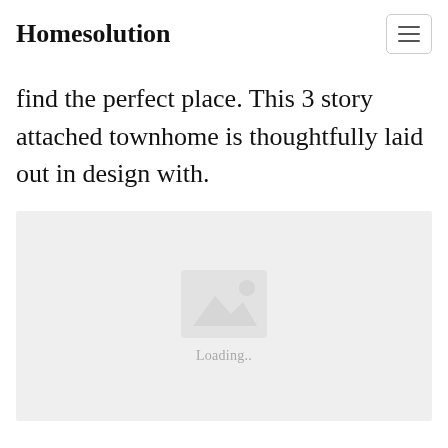Homesolution
find the perfect place. This 3 story attached townhome is thoughtfully laid out in design with.
[Figure (photo): Image placeholder with a mountain/landscape icon and 'Loading..' text on a light grey background]